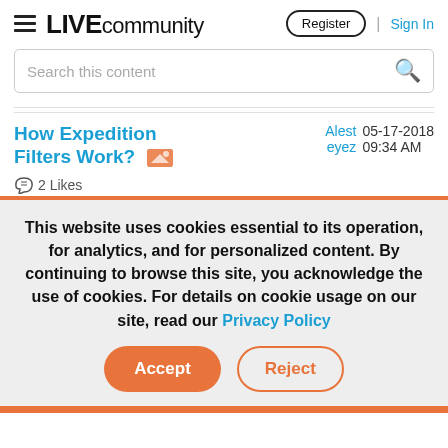LIVE community | Register | Sign In
Search this content
How Expedition Filters Work?
2 Likes  Alesteyez  05-17-2018 09:34 AM
This website uses cookies essential to its operation, for analytics, and for personalized content. By continuing to browse this site, you acknowledge the use of cookies. For details on cookie usage on our site, read our Privacy Policy
Accept  Reject